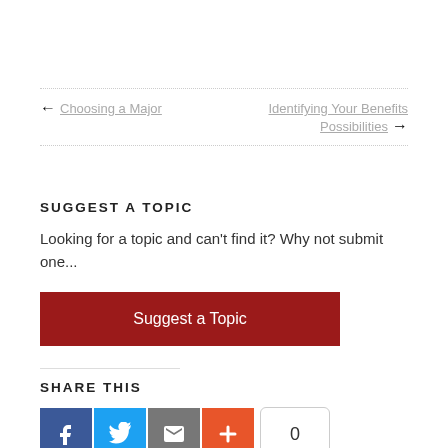← Choosing a Major    Identifying Your Benefits Possibilities →
SUGGEST A TOPIC
Looking for a topic and can't find it? Why not submit one...
Suggest a Topic
SHARE THIS
[Figure (other): Social share icons: Facebook, Twitter, Email, Plus, and a count showing 0]